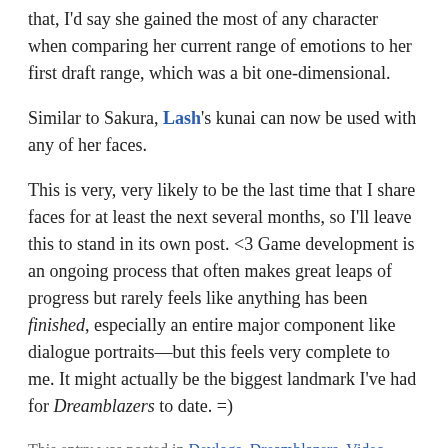that, I'd say she gained the most of any character when comparing her current range of emotions to her first draft range, which was a bit one-dimensional.
Similar to Sakura, Lash's kunai can now be used with any of her faces.
This is very, very likely to be the last time that I share faces for at least the next several months, so I'll leave this to stand in its own post. <3 Game development is an ongoing process that often makes great leaps of progress but rarely feels like anything has been finished, especially an entire major component like dialogue portraits—but this feels very complete to me. It might actually be the biggest landmark I've had for Dreamblazers to date. =)
This entry was posted in Devlogs, Dreamblazers, Video Game Art on April 20, 2015.
Leave a reply